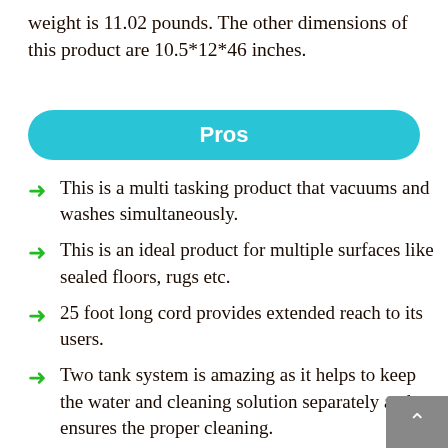weight is 11.02 pounds. The other dimensions of this product are 10.5*12*46 inches.
Pros
This is a multi tasking product that vacuums and washes simultaneously.
This is an ideal product for multiple surfaces like sealed floors, rugs etc.
25 foot long cord provides extended reach to its users.
Two tank system is amazing as it helps to keep the water and cleaning solution separately and ensures the proper cleaning.
Users can easily switch between the modes with the touch of a single button.
Product also has all manner common such